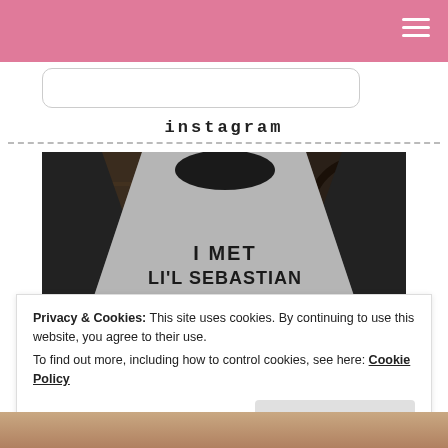[Figure (photo): Pink navigation header bar with hamburger menu icon (three white horizontal lines) in the top right corner.]
[Figure (photo): Search input box with rounded corners, partially visible.]
instagram
[Figure (photo): Photo of a person wearing a gray and black raglan baseball t-shirt that reads 'I MET LI'L SEBASTIAN' with a horse head graphic below the text. Wooden interior and bicycle wheel visible in background.]
Privacy & Cookies: This site uses cookies. By continuing to use this website, you agree to their use.
To find out more, including how to control cookies, see here: Cookie Policy
[Figure (photo): Partial bottom strip showing another Instagram photo.]